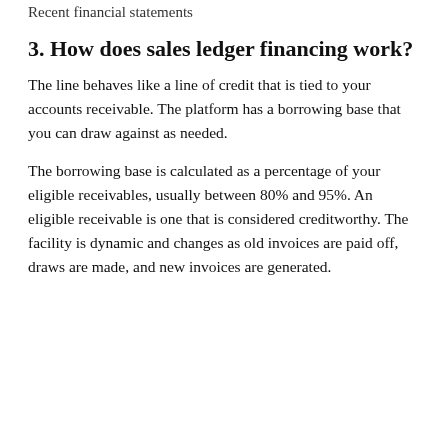Recent financial statements
3. How does sales ledger financing work?
The line behaves like a line of credit that is tied to your accounts receivable. The platform has a borrowing base that you can draw against as needed.
The borrowing base is calculated as a percentage of your eligible receivables, usually between 80% and 95%. An eligible receivable is one that is considered creditworthy. The facility is dynamic and changes as old invoices are paid off, draws are made, and new invoices are generated.